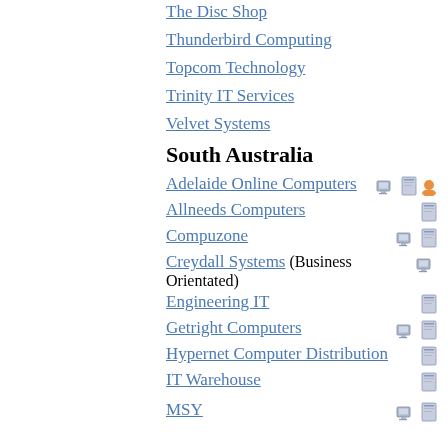The Disc Shop
Thunderbird Computing
Topcom Technology
Trinity IT Services
Velvet Systems
South Australia
Adelaide Online Computers
Allneeds Computers
Compuzone
Creydall Systems (Business Orientated)
Engineering IT
Getright Computers
Hypernet Computer Distribution
IT Warehouse
MSY